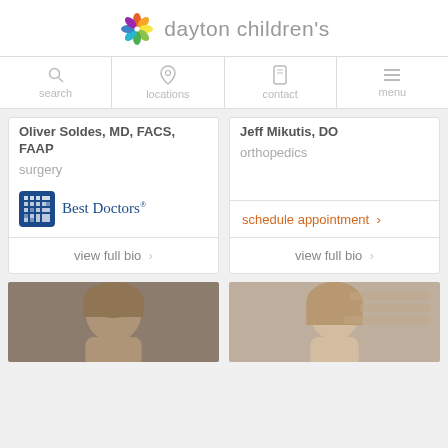dayton children's
search | locations | contact | menu
Oliver Soldes, MD, FACS, FAAP
surgery
[Figure (logo): Best Doctors logo - blue grid icon with text 'Best Doctors']
view full bio >
Jeff Mikutis, DO
orthopedics
schedule appointment >
view full bio >
[Figure (photo): Photo of a male doctor with medium-length hair]
[Figure (photo): Photo of a female doctor with light brown hair]